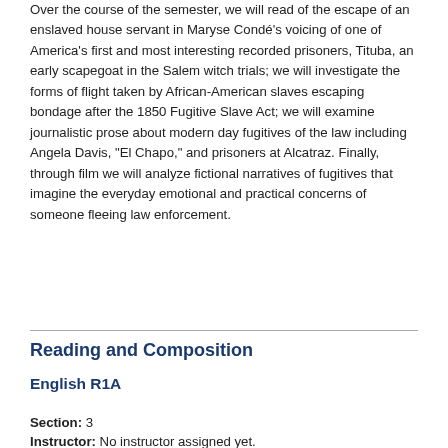Over the course of the semester, we will read of the escape of an enslaved house servant in Maryse Condé's voicing of one of America's first and most interesting recorded prisoners, Tituba, an early scapegoat in the Salem witch trials; we will investigate the forms of flight taken by African-American slaves escaping bondage after the 1850 Fugitive Slave Act; we will examine journalistic prose about modern day fugitives of the law including Angela Davis, "El Chapo," and prisoners at Alcatraz. Finally, through film we will analyze fictional narratives of fugitives that imagine the everyday emotional and practical concerns of someone fleeing law enforcement.
Reading and Composition
English R1A
Section: 3
Instructor: No instructor assigned yet.